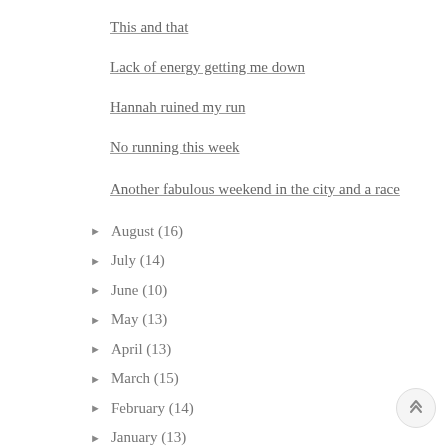This and that
Lack of energy getting me down
Hannah ruined my run
No running this week
Another fabulous weekend in the city and a race
► August (16)
► July (14)
► June (10)
► May (13)
► April (13)
► March (15)
► February (14)
► January (13)